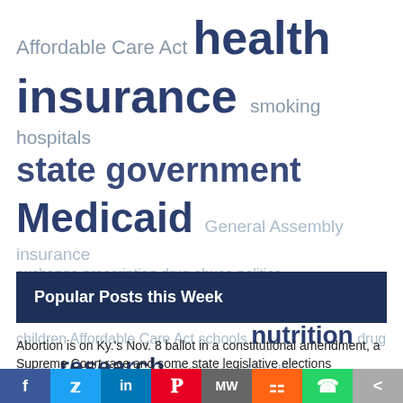[Figure (infographic): Word cloud with health policy topics: Affordable Care Act, health insurance, smoking, hospitals, state government, Medicaid, General Assembly, insurance exchange, prescription drug abuse, politics, tobacco, children, Affordable Care Act, schools, nutrition, drug abuse, research, obesity, rural health]
Popular Posts this Week
Abortion is on Ky.'s Nov. 8 ballot in a constitutional amendment, a Supreme Court race and some state legislative elections
under EVENTS, FEATURED, HEALTH POLICY, YOUR HEALTH